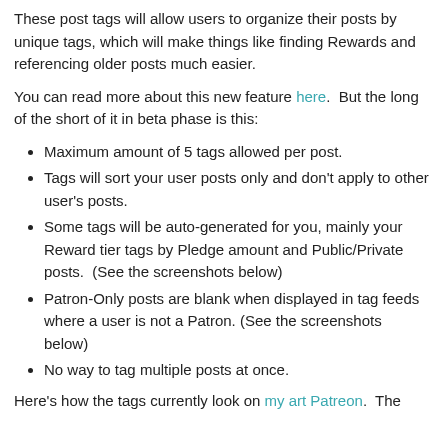These post tags will allow users to organize their posts by unique tags, which will make things like finding Rewards and referencing older posts much easier.
You can read more about this new feature here.  But the long of the short of it in beta phase is this:
Maximum amount of 5 tags allowed per post.
Tags will sort your user posts only and don't apply to other user's posts.
Some tags will be auto-generated for you, mainly your Reward tier tags by Pledge amount and Public/Private posts.  (See the screenshots below)
Patron-Only posts are blank when displayed in tag feeds where a user is not a Patron. (See the screenshots below)
No way to tag multiple posts at once.
Here's how the tags currently look on my art Patreon.  The